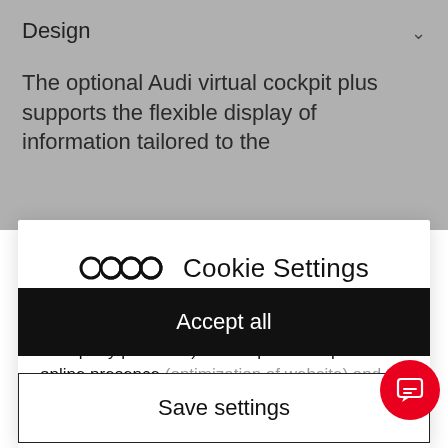Design
The optional Audi virtual cockpit plus supports the flexible display of information tailored to the
[Figure (logo): Audi four-rings logo beside 'Cookie Settings' title]
On our website, we use services (including from third-party providers) that help us to improve our online presence (optimization of website) and to display content that is geared to their interests (marketing). The following categories of cookies
Accept all
Save settings